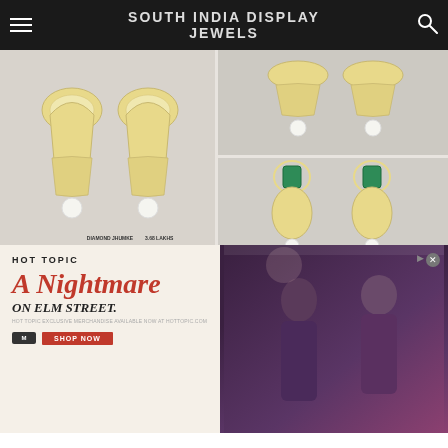SOUTH INDIA DISPLAY JEWELS
[Figure (photo): Diamond jhumke earrings with pearl drops, two pairs shown, price labeled DIAMOND JHUMKE 3.68 LAKHS, SRI MAHALAXMI GEMS AND JEWELLERS, Phone/whatsapp no 8125 782 411]
[Figure (screenshot): Advertisement for A Nightmare on Elm Street merchandise from Hot Topic, with Shop Now button and photo of two people in dark clothing]